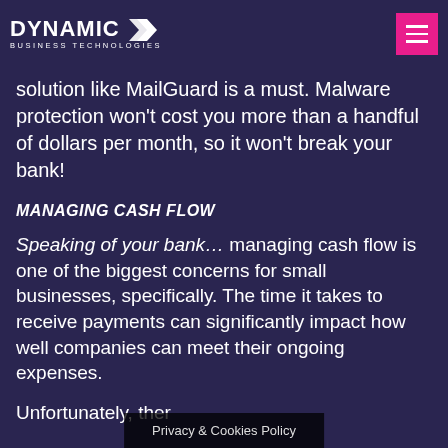DYNAMIC BUSINESS TECHNOLOGIES
solution like MailGuard is a must. Malware protection won’t cost you more than a handful of dollars per month, so it won’t break your bank!
MANAGING CASH FLOW
Speaking of your bank… managing cash flow is one of the biggest concerns for small businesses, specifically. The time it takes to receive payments can significantly impact how well companies can meet their ongoing expenses.
Unfortunately, ther… of a
Privacy & Cookies Policy